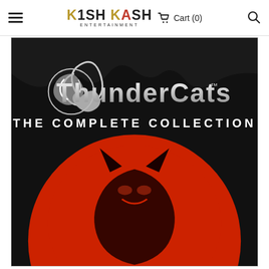Kish Kash Entertainment | Cart (0)
[Figure (photo): ThunderCats The Complete Collection DVD/Blu-ray box set cover image on a product page. Black background with the silver ThunderCats logo at top and subtitle 'THE COMPLETE COLLECTION' below in white letters. A large red circle with the ThunderCats cat head silhouette in black is visible in the lower portion.]